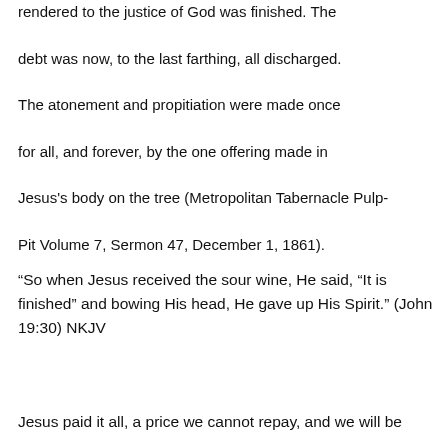rendered to the justice of God was finished. The debt was now, to the last farthing, all discharged. The atonement and propitiation were made once for all, and forever, by the one offering made in Jesus's body on the tree (Metropolitan Tabernacle Pulp- Pit Volume 7, Sermon 47, December 1, 1861).
“So when Jesus received the sour wine, He said, “It is finished” and bowing His head, He gave up His Spirit.” (John 19:30) NKJV
Jesus paid it all, a price we cannot repay, and we will be